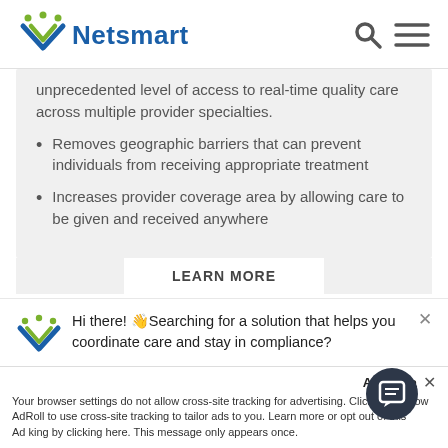Netsmart
unprecedented level of access to real-time quality care across multiple provider specialties.
Removes geographic barriers that can prevent individuals from receiving appropriate treatment
Increases provider coverage area by allowing care to be given and received anywhere
LEARN MORE
Hi there! 👋Searching for a solution that helps you coordinate care and stay in compliance?
Accept a...  ✕  Your browser settings do not allow cross-site tracking for advertising. Click on this ... ow AdRoll to use cross-site tracking to tailor ads to you. Learn more or opt out of this Ad... king by clicking here. This message only appears once.